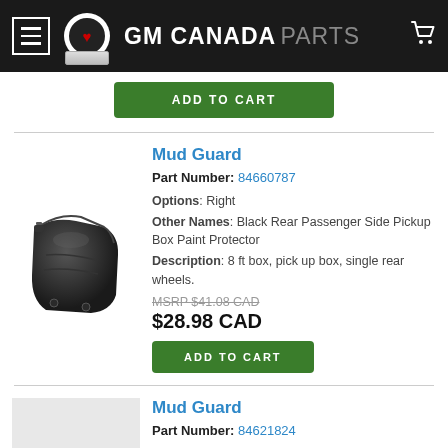GM CANADA PARTS
ADD TO CART
Mud Guard
Part Number: 84660787
Options: Right
Other Names: Black Rear Passenger Side Pickup Box Paint Protector
Description: 8 ft box, pick up box, single rear wheels.
MSRP $41.08 CAD
$28.98 CAD
ADD TO CART
Mud Guard
Part Number: 84621824
Options: Right
Other Names: Black Front Passenger Side